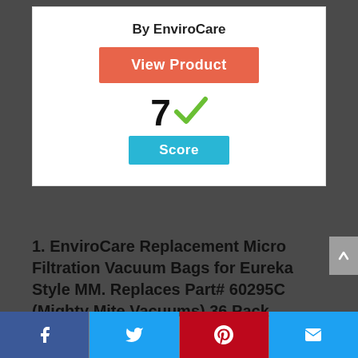By EnviroCare
View Product
[Figure (infographic): Score display showing number 7 with a green checkmark and a blue 'Score' badge below]
1. EnviroCare Replacement Micro Filtration Vacuum Bags for Eureka Style MM. Replaces Part# 60295C (Mighty Mite Vacuums) 36 Pack
Facebook | Twitter | Pinterest | Email